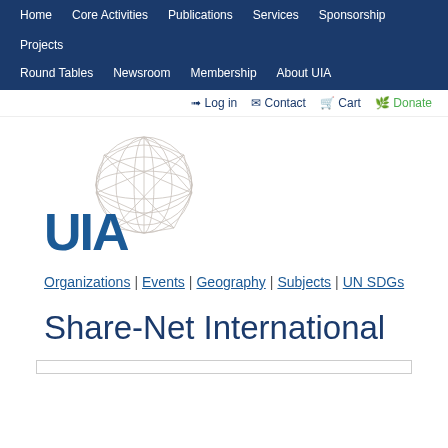Home | Core Activities | Publications | Services | Sponsorship | Projects | Round Tables | Newsroom | Membership | About UIA
Log in | Contact | Cart | Donate
[Figure (logo): UIA logo with globe wireframe graphic above the letters UIA in bold blue]
Organizations | Events | Geography | Subjects | UN SDGs
Share-Net International